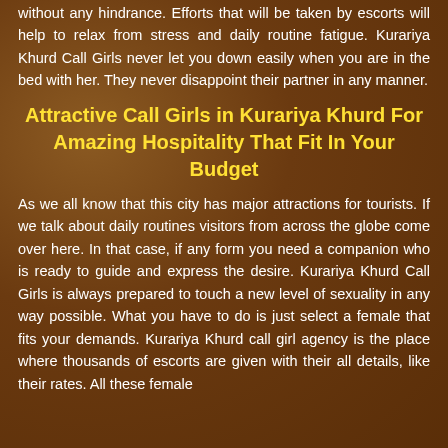without any hindrance. Efforts that will be taken by escorts will help to relax from stress and daily routine fatigue. Kurariya Khurd Call Girls never let you down easily when you are in the bed with her. They never disappoint their partner in any manner.
Attractive Call Girls in Kurariya Khurd For Amazing Hospitality That Fit In Your Budget
As we all know that this city has major attractions for tourists. If we talk about daily routines visitors from across the globe come over here. In that case, if any form you need a companion who is ready to guide and express the desire. Kurariya Khurd Call Girls is always prepared to touch a new level of sexuality in any way possible. What you have to do is just select a female that fits your demands. Kurariya Khurd call girl agency is the place where thousands of escorts are given with their all details, like their rates. All these female